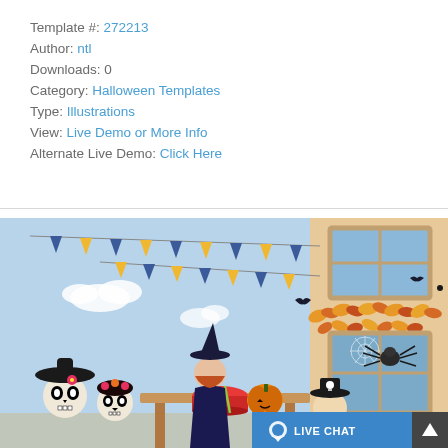Template #: 272213
Author: ntl
Downloads: 0
Category: Halloween Templates
Type: Illustrations
View: Live Demo or More Info
Alternate Live Demo: Click Here
[Figure (illustration): Halloween party illustration showing costumed figures including a witch, pirate, and Day of the Dead characters around a table with a pumpkin and punch bowl. Blue sky background with bunting flags, and a house window with spiderweb and spider decorations.]